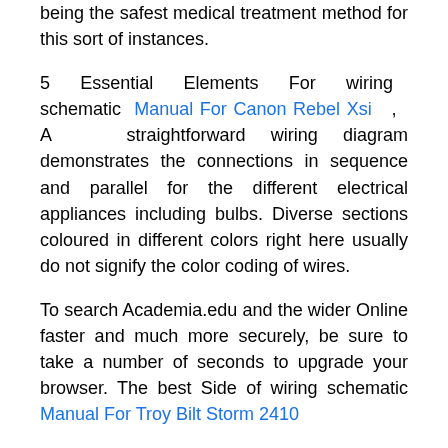being the safest medical treatment method for this sort of instances.
5 Essential Elements For wiring schematic Manual For Canon Rebel Xsi
, A straightforward wiring diagram demonstrates the connections in sequence and parallel for the different electrical appliances including bulbs. Diverse sections coloured in different colors right here usually do not signify the color coding of wires.
To search Academia.edu and the wider Online faster and much more securely, be sure to take a number of seconds to upgrade your browser. The best Side of wiring schematic Manual For Troy Bilt Storm 2410
.
Electrical power On this circuit travels in the very hot wire through the 1st change and thru the traveler wire to the 2nd switch. If the next switch is while in the “OFF” posture, then The sunshine might be off